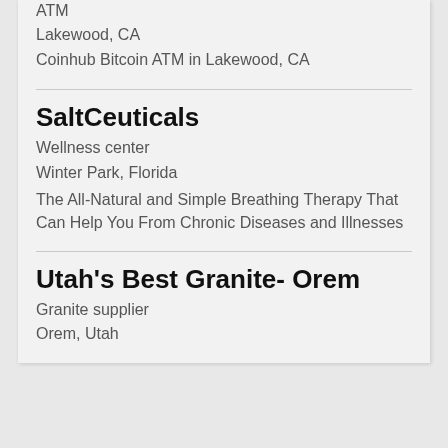ATM
Lakewood, CA
Coinhub Bitcoin ATM in Lakewood, CA
SaltCeuticals
Wellness center
Winter Park, Florida
The All-Natural and Simple Breathing Therapy That Can Help You From Chronic Diseases and Illnesses
Utah's Best Granite- Orem
Granite supplier
Orem, Utah